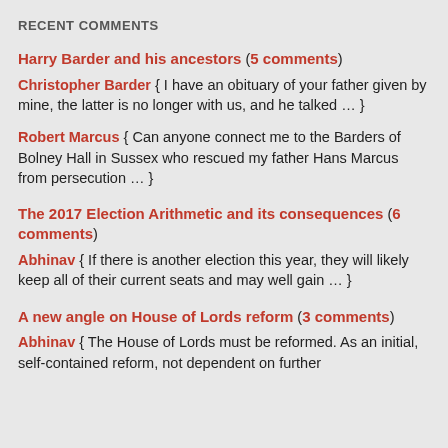RECENT COMMENTS
Harry Barder and his ancestors (5 comments)
Christopher Barder { I have an obituary of your father given by mine, the latter is no longer with us, and he talked … }
Robert Marcus { Can anyone connect me to the Barders of Bolney Hall in Sussex who rescued my father Hans Marcus from persecution … }
The 2017 Election Arithmetic and its consequences (6 comments)
Abhinav { If there is another election this year, they will likely keep all of their current seats and may well gain … }
A new angle on House of Lords reform (3 comments)
Abhinav { The House of Lords must be reformed. As an initial, self-contained reform, not dependent on further